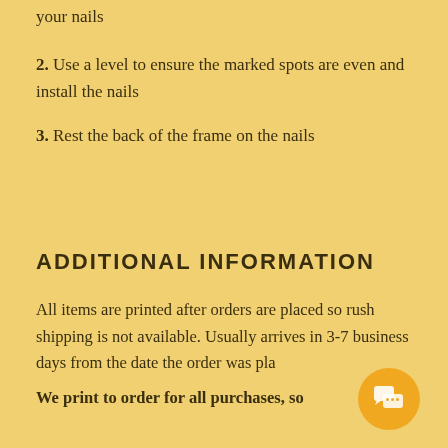your nails
2. Use a level to ensure the marked spots are even and install the nails
3. Rest the back of the frame on the nails
ADDITIONAL INFORMATION
All items are printed after orders are placed so rush shipping is not available. Usually arrives in 3-7 business days from the date the order was pla…
We print to order for all purchases, so